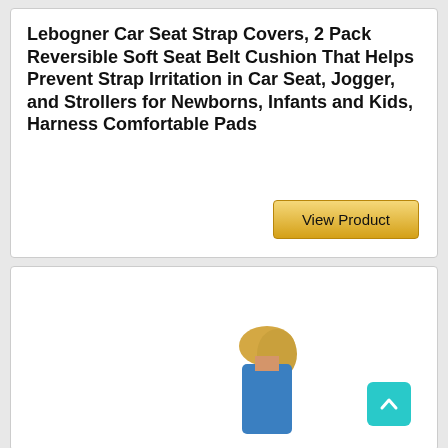Lebogner Car Seat Strap Covers, 2 Pack Reversible Soft Seat Belt Cushion That Helps Prevent Strap Irritation in Car Seat, Jogger, and Strollers for Newborns, Infants and Kids, Harness Comfortable Pads
View Product
[Figure (photo): Bottom card section showing a partial photo of a person (appears to be a woman with blonde hair wearing a blue top), with a teal/cyan scroll-to-top button in the bottom right corner]